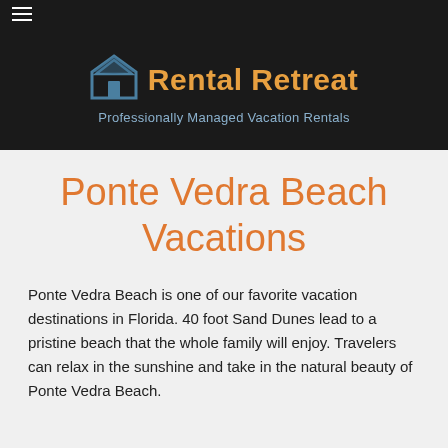[Figure (logo): Rental Retreat logo with house icon and text 'Rental Retreat' in orange, tagline 'Professionally Managed Vacation Rentals' in blue-gray, on dark background]
Ponte Vedra Beach Vacations
Ponte Vedra Beach is one of our favorite vacation destinations in Florida. 40 foot Sand Dunes lead to a pristine beach that the whole family will enjoy. Travelers can relax in the sunshine and take in the natural beauty of Ponte Vedra Beach.